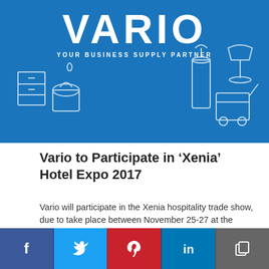[Figure (illustration): Vario brand banner with blue background, large white VARIO logo text, tagline YOUR BUSINESS SUPPLY PARTNER, and line-art illustrations of cleaning/supply equipment]
Vario to Participate in 'Xenia' Hotel Expo 2017
Vario will participate in the Xenia hospitality trade show, due to take place between November 25-27 at the Metropolitan Expo in Athens.
Posted On 16 Oct 2017, By GTP editing team
[Figure (photo): Interior room photo showing white ceiling panels and a framed display on the wall]
[Figure (infographic): Social media sharing bar with Facebook, Twitter, Pinterest, LinkedIn, and copy link buttons]